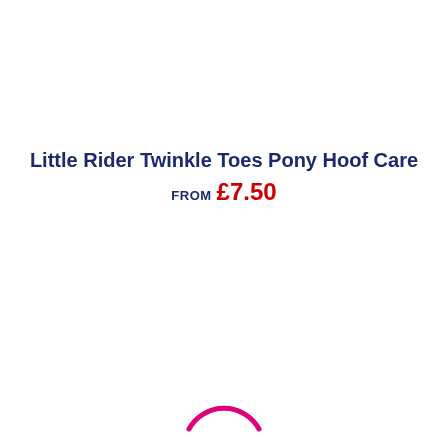Little Rider Twinkle Toes Pony Hoof Care FROM £7.50
[Figure (other): Partial pink/magenta circular loading spinner or logo graphic at bottom center of page]